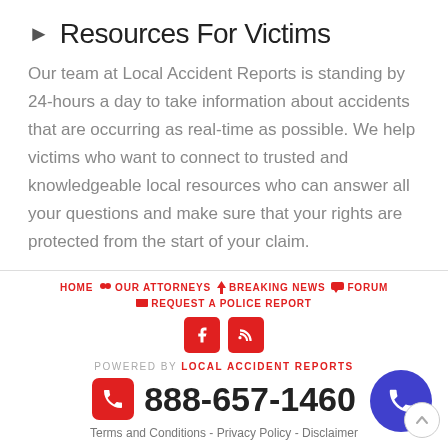Resources For Victims
Our team at Local Accident Reports is standing by 24-hours a day to take information about accidents that are occurring as real-time as possible. We help victims who want to connect to trusted and knowledgeable local resources who can answer all your questions and make sure that your rights are protected from the start of your claim.
HOME  OUR ATTORNEYS  BREAKING NEWS  FORUM  REQUEST A POLICE REPORT
POWERED BY LOCAL ACCIDENT REPORTS
888-657-1460
Terms and Conditions - Privacy Policy - Disclaimer